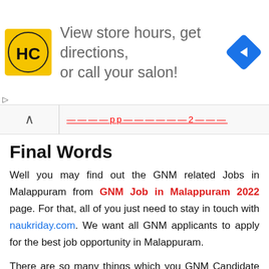[Figure (other): Advertisement banner with HC salon logo (yellow square with HC letters) on left, text 'View store hours, get directions, or call your salon!' in center, and blue diamond navigation arrow icon on right]
▷
×
[navigation link with red underlined text partially visible]
Final Words
Well you may find out the GNM related Jobs in Malappuram from GNM Job in Malappuram 2022 page. For that, all of you just need to stay in touch with naukriday.com. We want all GNM applicants to apply for the best job opportunity in Malappuram.
There are so many things which you GNM Candidate need to understand related to these jobs such as timings of jobs etc. At first, you should check out GNM jobs requirements in Malappuram and then search for that.